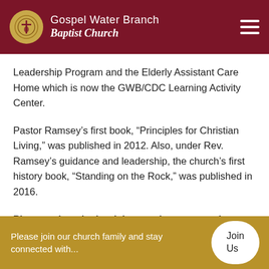Gospel Water Branch Baptist Church
Leadership Program and the Elderly Assistant Care Home which is now the GWB/CDC Learning Activity Center.
Pastor Ramsey’s first book, “Principles for Christian Living,” was published in 2012. Also, under Rev. Ramsey’s guidance and leadership, the church’s first history book, “Standing on the Rock,” was published in 2016.
Please select the book image above to purchase Pastor’s book.  God bless you.
Please join our church family and stay connected with...